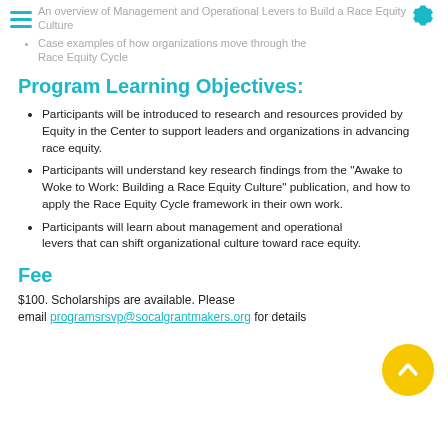An overview of Management and Operational Levers to Build a Race Equity Culture
Case examples of how organizations move through the Race Equity Cycle
Program Learning Objectives:
Participants will be introduced to research and resources provided by Equity in the Center to support leaders and organizations in advancing race equity.
Participants will understand key research findings from the "Awake to Woke to Work: Building a Race Equity Culture" publication, and how to apply the Race Equity Cycle framework in their own work.
Participants will learn about management and operational levers that can shift organizational culture toward race equity.
Fee
$100. Scholarships are available. Please email programsrsvp@socalgrantmakers.org for details